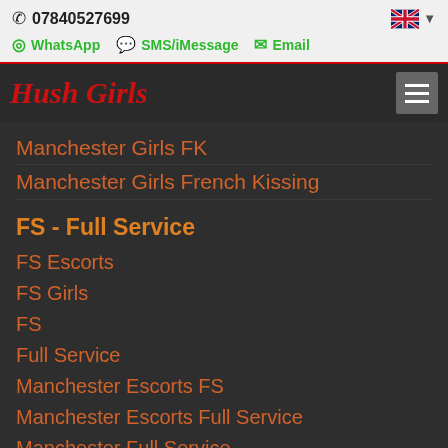07840527699
WhatsApp   SMS/iMessage   Email
Hush Girls
Manchester Girls FK
Manchester Girls French Kissing
FS - Full Service
FS Escorts
FS Girls
FS
Full Service
Manchester Escorts FS
Manchester Escorts Full Service
Manchester Full Service